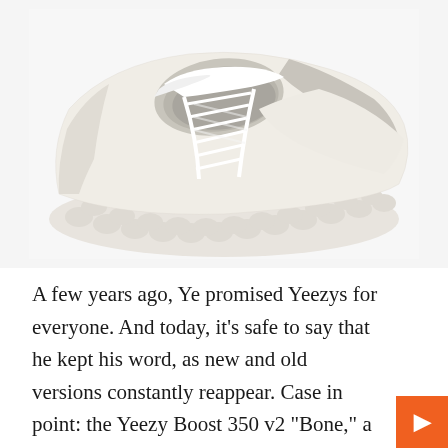[Figure (photo): Top-down angled view of a white/cream Adidas Yeezy Boost 350 V2 sneaker showing the knit upper, white laces, and chunky boost sole, photographed against a white background.]
A few years ago, Ye promised Yeezys for everyone. And today, it's safe to say that he kept his word, as new and old versions constantly reappear. Case in point: the Yeezy Boost 350 v2 "Bone," a relatively recent colorway already